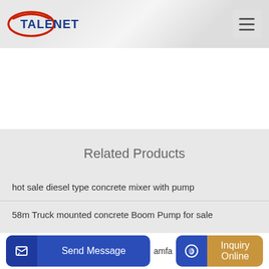[Figure (logo): TALENET logo with red swoosh oval and blue bold text]
Related Products
hot sale diesel type concrete mixer with pump
58m Truck mounted concrete Boom Pump for sale
Send Message
amfa
Inquiry Online